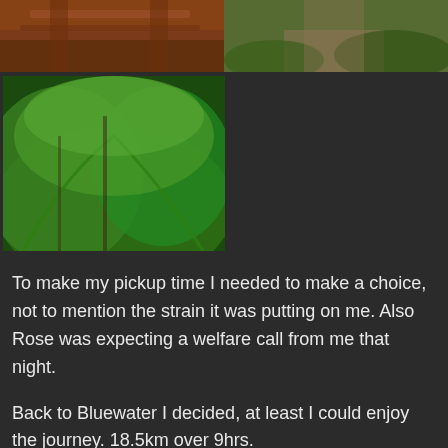[Figure (photo): Top-left photo: dirt road with reddish-brown soil]
[Figure (photo): Top-right photo: forest path with brown dirt and green vegetation]
[Figure (photo): Bottom-left photo: dense green tropical forest vegetation with ferns and trees]
To make my pickup time I needed to make a choice, not to mention the strain it was putting on me. Also Rose was expecting a welfare call from me that night.
Back to Bluewater I decided, at least I could enjoy the journey. 18.5km over 9hrs.
Overall I had a blast and it looks like the FB group ‘Forestry 4×4’ has a lot more work to do clearing more trees – they are